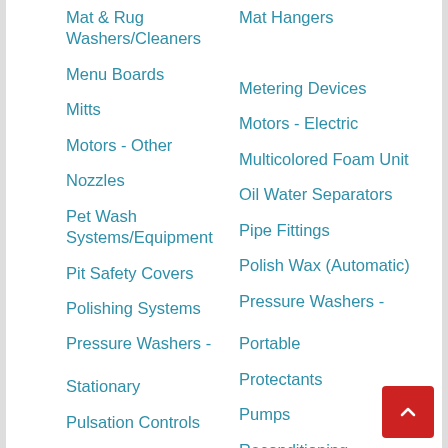Mat & Rug Washers/Cleaners
Mat Hangers
Menu Boards
Metering Devices
Mitts
Motors - Electric
Motors - Other
Multicolored Foam Unit
Nozzles
Oil Water Separators
Pet Wash Systems/Equipment
Pipe Fittings
Pit Safety Covers
Polish Wax (Automatic)
Polishing Systems
Pressure Washers - Portable
Pressure Washers - Stationary
Protectants
Pulsation Controls
Pumps
Reclaim Pit Deodorizers
Reconditioning -